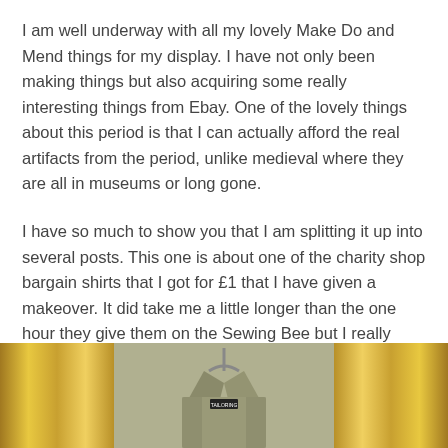I am well underway with all my lovely Make Do and Mend things for my display. I have not only been making things but also acquiring some really interesting things from Ebay. One of the lovely things about this period is that I can actually afford the real artifacts from the period, unlike medieval where they are all in museums or long gone.
I have so much to show you that I am splitting it up into several posts. This one is about one of the charity shop bargain shirts that I got for £1 that I have given a makeover. It did take me a little longer than the one hour they give them on the Sewing Bee but I really enjoyed the process and am very happy with the results.
[Figure (photo): A khaki/olive coloured shirt on a hanger, flanked by golden/yellow cylindrical objects on either side, against a light background.]